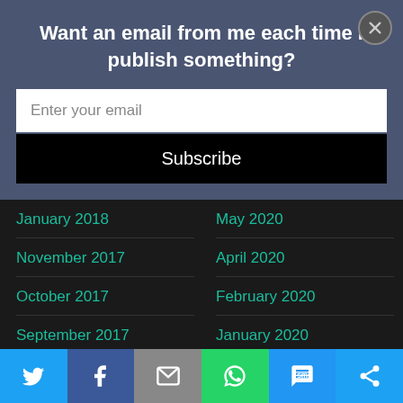Want an email from me each time I publish something?
Enter your email
Subscribe
January 2018
November 2017
October 2017
September 2017
August 2017
May 2020
April 2020
February 2020
January 2020
December 2019